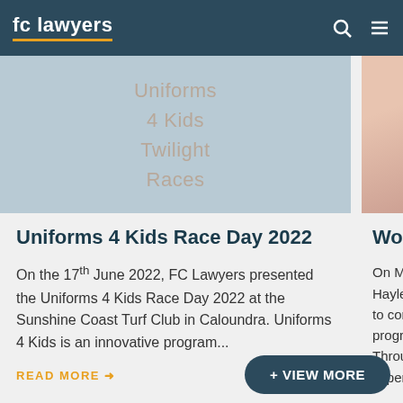fc lawyers
[Figure (photo): Storefront or window display with text 'Uniforms 4 Kids Twilight Races' in light gold lettering on glass]
Uniforms 4 Kids Race Day 2022
On the 17th June 2022, FC Lawyers presented the Uniforms 4 Kids Race Day 2022 at the Sunshine Coast Turf Club in Caloundra. Uniforms 4 Kids is an innovative program...
READ MORE →
[Figure (photo): Partially visible photo of a person with light brown hair wearing a pink/salmon blazer, viewed from behind/side]
Work Ex
On Mond Hayley jo to comp program Througho experien
READ MO